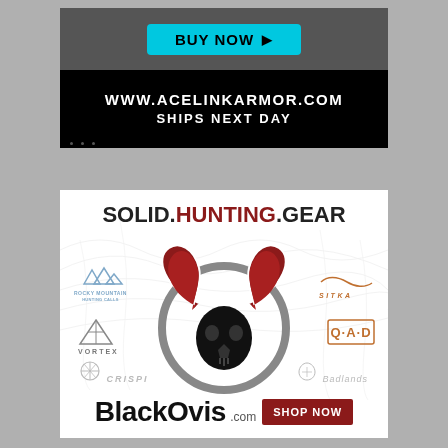[Figure (advertisement): AceLinkArmor.com advertisement with 'BUY NOW' button in cyan on dark background, showing website URL www.acelinkarmor.com and text 'SHIPS NEXT DAY']
[Figure (advertisement): BlackOvis.com hunting gear retailer advertisement featuring 'SOLID.HUNTING.GEAR' headline with ram skull logo, brand logos (Rocky Mountain, Sitka, Vortex, QAD, Crispi, Badlands), BlackOvis.com name, and 'SHOP NOW' red button]